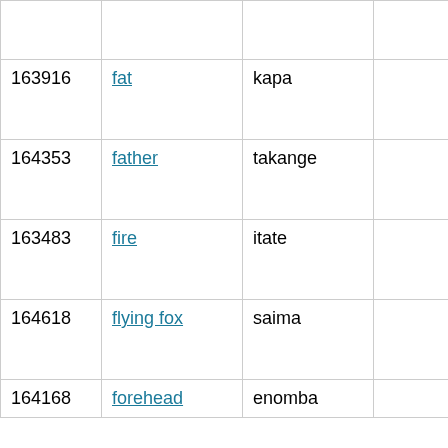| ID | Word | Translation |  |  | Reference | Notes |
| --- | --- | --- | --- | --- | --- | --- |
|  |  |  |  |  | and Comrie (1985) |  |
| 163916 | fat | kapa |  |  | Davies and Comrie (1985) | fat (gr... |
| 164353 | father | takange |  |  | Davies and Comrie (1985) | his... |
| 163483 | fire | itate |  |  | Davies and Comrie (1985) | fire... |
| 164618 | flying fox | saima |  |  | Davies and Comrie (1985) | flyi... |
| 164168 | forehead | enomba |  |  | Davies and Comrie (1985) | his... |